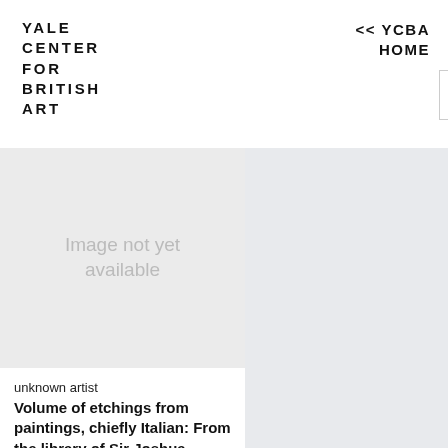YALE CENTER FOR BRITISH ART
<< YCBA HOME
[Figure (other): Image not yet available placeholder for artwork]
unknown artist
Volume of etchings from paintings, chiefly Italian: From the library of Sir Joshua Reynolds